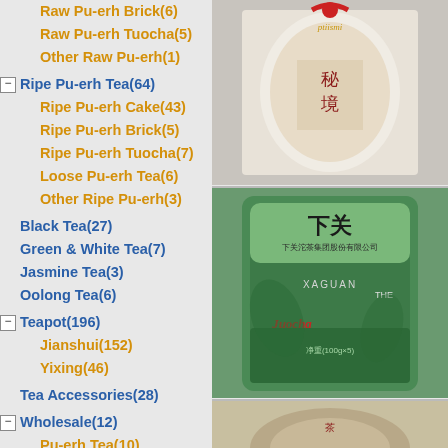Raw Pu-erh Brick(6)
Raw Pu-erh Tuocha(5)
Other Raw Pu-erh(1)
Ripe Pu-erh Tea(64)
Ripe Pu-erh Cake(43)
Ripe Pu-erh Brick(5)
Ripe Pu-erh Tuocha(7)
Loose Pu-erh Tea(6)
Other Ripe Pu-erh(3)
Black Tea(27)
Green & White Tea(7)
Jasmine Tea(3)
Oolong Tea(6)
Teapot(196)
Jianshui(152)
Yixing(46)
Tea Accessories(28)
Wholesale(12)
Pu-erh Tea(10)
Black Tea(3)
[Figure (photo): Product photo of wrapped tea package with Chinese characters and red ribbon]
[Figure (photo): Green pouch of Xia Guan Tuocha tea (Tuo Cha brand, green packaging with red Chinese text and brand logo)]
[Figure (photo): Partial view of another tea product at bottom]